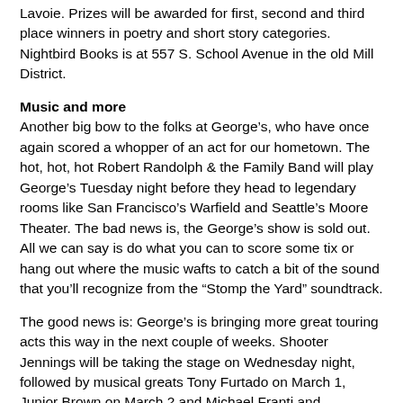Lavoie. Prizes will be awarded for first, second and third place winners in poetry and short story categories. Nightbird Books is at 557 S. School Avenue in the old Mill District.
Music and more
Another big bow to the folks at George’s, who have once again scored a whopper of an act for our hometown. The hot, hot, hot Robert Randolph & the Family Band will play George’s Tuesday night before they head to legendary rooms like San Francisco’s Warfield and Seattle’s Moore Theater. The bad news is, the George’s show is sold out. All we can say is do what you can to score some tix or hang out where the music wafts to catch a bit of the sound that you’ll recognize from the “Stomp the Yard” soundtrack.
The good news is: George’s is bringing more great touring acts this way in the next couple of weeks. Shooter Jennings will be taking the stage on Wednesday night, followed by musical greats Tony Furtado on March 1, Junior Brown on March 2 and Michael Franti and Spearhead on March 6.
If pop-punk is what you’re looking for, check out Madison, Wisconsin’s Sleeping in the Aviary, who will be joining local bands An A+ Set Up and Pretty Pink Boa Monday night at The Gypsy. And, on Friday night for a little metal core, three groups will converge at